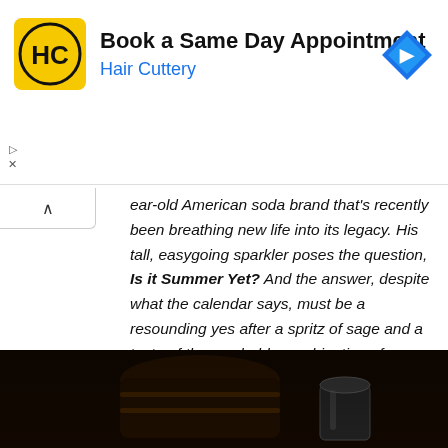[Figure (other): Hair Cuttery advertisement banner with logo (HC yellow circle), title 'Book a Same Day Appointment', subtitle 'Hair Cuttery', and a blue navigation arrow icon on the right.]
ear-old American soda brand that's recently been breathing new life into its legacy. His tall, easygoing sparkler poses the question, Is it Summer Yet? And the answer, despite what the calendar says, must be a resounding yes after a spritz of sage and a taste of the crushable combination of bourbon, strawberry-rhubarb syrup, and Reading Draft Honey Pear soda.
Sam is a 27-year veteran of the food and beverage industry, a crafter of cocktails, and a connoisseur of Mexico's agave-based spirits. He currently represents small-batch craft distilleries that are working to keep Mexico's unique liquid culture alive.
[Figure (photo): Dark photograph showing what appears to be a wooden barrel and a metal cup/vessel, likely related to spirits or cocktails.]